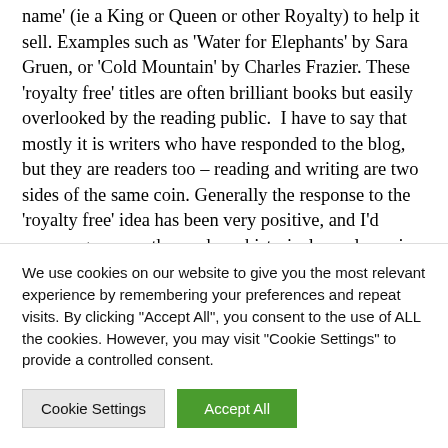name' (ie a King or Queen or other Royalty) to help it sell. Examples such as 'Water for Elephants' by Sara Gruen, or 'Cold Mountain' by Charles Frazier. These 'royalty free' titles are often brilliant books but easily overlooked by the reading public.  I have to say that mostly it is writers who have responded to the blog, but they are readers too – reading and writing are two sides of the same coin. Generally the response to the 'royalty free' idea has been very positive, and I'd encourage any authors whose historical novels are in print (not just ebooks) to have a look at the site if they'd like their books to feature. A
We use cookies on our website to give you the most relevant experience by remembering your preferences and repeat visits. By clicking "Accept All", you consent to the use of ALL the cookies. However, you may visit "Cookie Settings" to provide a controlled consent.